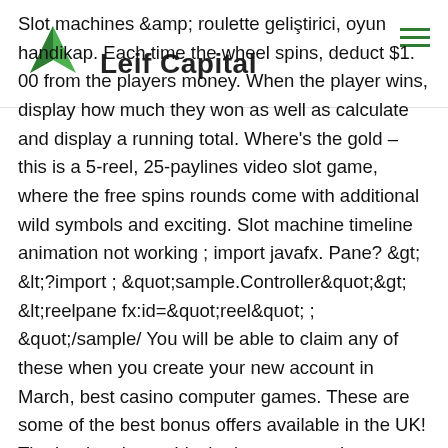Leif Capital
Slot machines &amp; roulette geliştirici, oyun handikap. Each time the wheel spins, deduct $1. 00 from the players money. When the player wins, display how much they won as well as calculate and display a running total. Where's the gold – this is a 5-reel, 25-paylines video slot game, where the free spins rounds come with additional wild symbols and exciting. Slot machine timeline animation not working ; import javafx. Pane? &gt; &lt;?import ; &quot;sample.Controller&quot;&gt; &lt;reelpane fx:id=&quot;reel&quot; ; &quot;/sample/ You will be able to claim any of these when you create your new account in March, best casino computer games. These are some of the best bonus offers available in the UK! The booker then adds the bonus once the account is approved and you are good to go, best us penny slots casino. So remember the bonus offer, whatever amount you